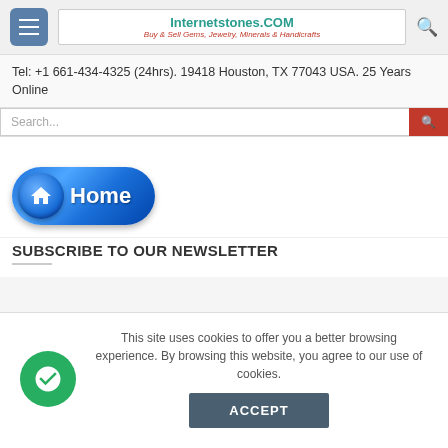[Figure (screenshot): Website header with hamburger menu, Internetstones.COM logo, and search icon]
Tel: +1 661-434-4325 (24hrs). 19418 Houston, TX 77043 USA. 25 Years Online
[Figure (screenshot): Search bar with orange search button]
[Figure (illustration): Blue glossy Home button with house icon]
SUBSCRIBE TO OUR NEWSLETTER
This site uses cookies to offer you a better browsing experience. By browsing this website, you agree to our use of cookies.
[Figure (illustration): Green chat/support circle icon]
ACCEPT